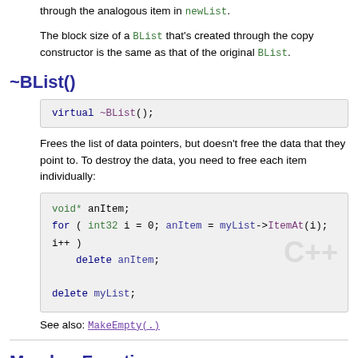through the analogous item in newList.
The block size of a BList that's created through the copy constructor is the same as that of the original BList.
~BList()
virtual ~BList();
Frees the list of data pointers, but doesn't free the data that they point to. To destroy the data, you need to free each item individually:
void* anItem;
for ( int32 i = 0; anItem = myList->ItemAt(i); i++ )
    delete anItem;

delete myList;
See also: MakeEmpty(.)
Member Functions